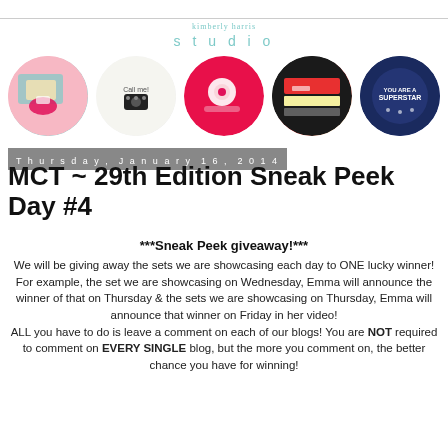kimberly harris studio
[Figure (photo): Five circular cropped craft/scrapbooking project photos arranged in a row: colorful card with pink bow, phone tag card, pink polka dot project, black/red/yellow project, dark blue 'superstar' project.]
Thursday, January 16, 2014
MCT ~ 29th Edition Sneak Peek Day #4
***Sneak Peek giveaway!*** We will be giving away the sets we are showcasing each day to ONE lucky winner! For example, the set we are showcasing on Wednesday, Emma will announce the winner of that on Thursday & the sets we are showcasing on Thursday, Emma will announce that winner on Friday in her video! ALL you have to do is leave a comment on each of our blogs! You are NOT required to comment on EVERY SINGLE blog, but the more you comment on, the better chance you have for winning!